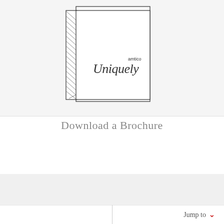[Figure (illustration): Line sketch illustration of a brochure/book standing upright, with hatching on the spine. The cover shows cursive script reading 'Uniquely' with 'amtico' printed in small sans-serif text above it.]
Download a Brochure
[Figure (screenshot): Partial view of a gray section below with faint icon shapes visible at the bottom edge.]
Jump to